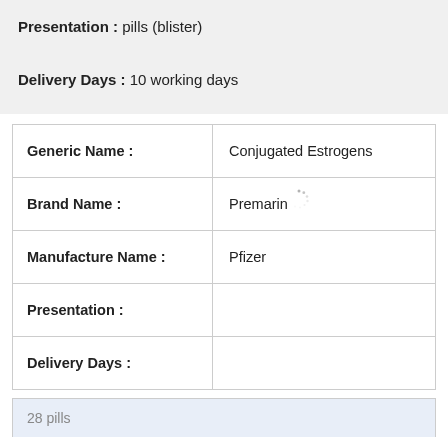Presentation : pills (blister)
Delivery Days : 10 working days
| Field | Value |
| --- | --- |
| Generic Name : | Conjugated Estrogens |
| Brand Name : | Premarin |
| Manufacture Name : | Pfizer |
| Presentation : |  |
| Delivery Days : |  |
28 pills